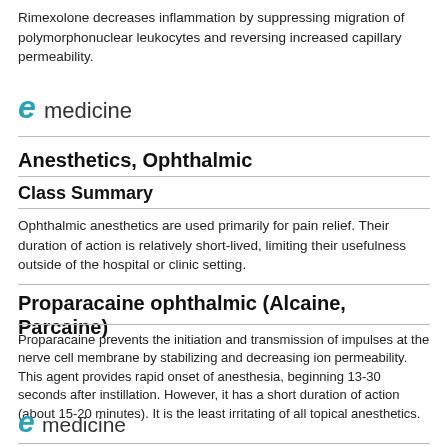Rimexolone decreases inflammation by suppressing migration of polymorphonuclear leukocytes and reversing increased capillary permeability.
[Figure (logo): eMedicine logo with stylized 'e' in teal and 'medicine' in dark text]
Anesthetics, Ophthalmic
Class Summary
Ophthalmic anesthetics are used primarily for pain relief. Their duration of action is relatively short-lived, limiting their usefulness outside of the hospital or clinic setting.
Proparacaine ophthalmic (Alcaine, Parcaine)
Proparacaine prevents the initiation and transmission of impulses at the nerve cell membrane by stabilizing and decreasing ion permeability. This agent provides rapid onset of anesthesia, beginning 13-30 seconds after instillation. However, it has a short duration of action (about 15-20 minutes). It is the least irritating of all topical anesthetics.
[Figure (logo): eMedicine logo with stylized 'e' in teal and 'medicine' in dark text]